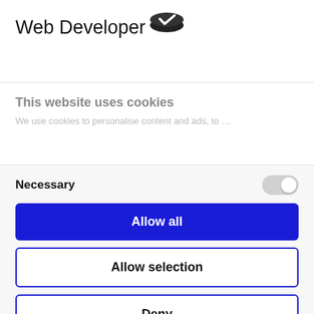Web Developer
[Figure (logo): Dark oval logo icon with white checkmark]
This website uses cookies
We use cookies to personalise content and ads, to…
Necessary
[Figure (other): Toggle switch in off/gray state]
Allow all
Allow selection
Deny
Powered by Cookiebot by Usercentrics